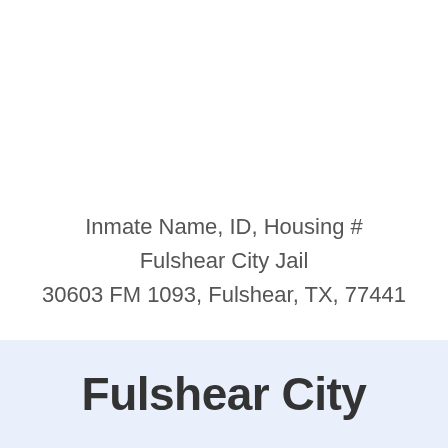Inmate Name, ID, Housing #
Fulshear City Jail
30603 FM 1093, Fulshear, TX, 77441
Fulshear City